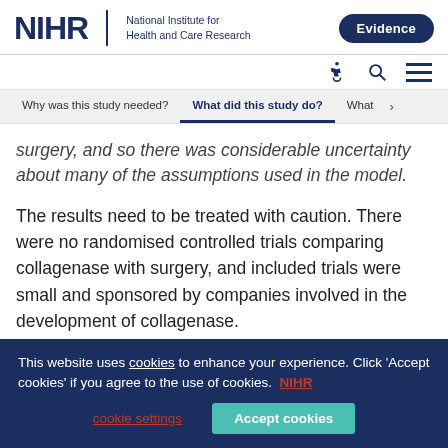NIHR | National Institute for Health and Care Research — Evidence
Why was this study needed? | What did this study do? | What
surgery, and so there was considerable uncertainty about many of the assumptions used in the model.
The results need to be treated with caution. There were no randomised controlled trials comparing collagenase with surgery, and included trials were small and sponsored by companies involved in the development of collagenase.
This website uses cookies to enhance your experience. Click 'Accept cookies' if you agree to the use of cookies. NIHR cookie settings | Accept cookies